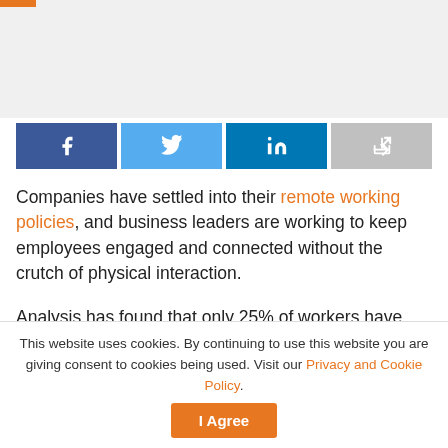[Figure (other): Top image area placeholder with light gray background and orange top-left accent bar]
[Figure (other): Social share buttons bar: Facebook (dark blue), Twitter (light blue), LinkedIn (teal/blue), Share (gray)]
Companies have settled into their remote working policies, and business leaders are working to keep employees engaged and connected without the crutch of physical interaction.
Analysis has found that only 25% of workers have come back into offices across 10 large cities. This comes as no surprise since major companies like Twitter and Square have revealed their commitment to remote working in the
This website uses cookies. By continuing to use this website you are giving consent to cookies being used. Visit our Privacy and Cookie Policy.